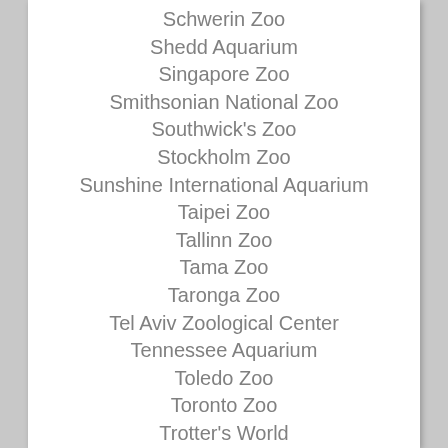Schwerin Zoo
Shedd Aquarium
Singapore Zoo
Smithsonian National Zoo
Southwick's Zoo
Stockholm Zoo
Sunshine International Aquarium
Taipei Zoo
Tallinn Zoo
Tama Zoo
Taronga Zoo
Tel Aviv Zoological Center
Tennessee Aquarium
Toledo Zoo
Toronto Zoo
Trotter's World
Tulsa Zoo
Twycross Zoo
Virginia Zoo